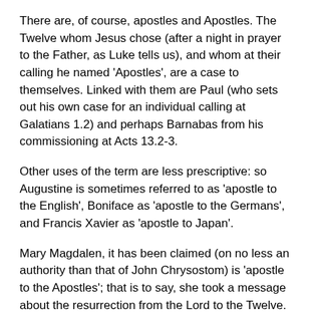There are, of course, apostles and Apostles. The Twelve whom Jesus chose (after a night in prayer to the Father, as Luke tells us), and whom at their calling he named 'Apostles', are a case to themselves. Linked with them are Paul (who sets out his own case for an individual calling at Galatians 1.2) and perhaps Barnabas from his commissioning at Acts 13.2-3.
Other uses of the term are less prescriptive: so Augustine is sometimes referred to as 'apostle to the English', Boniface as 'apostle to the Germans', and Francis Xavier as 'apostle to Japan'.
Mary Magdalen, it has been claimed (on no less an authority than that of John Chrysostom) is 'apostle to the Apostles'; that is to say, she took a message about the resurrection from the Lord to the Twelve. But the issue is by no means so simple. The story turns, not on Mary's identity with the Twelve, but on the ironic point that she is not one of them.